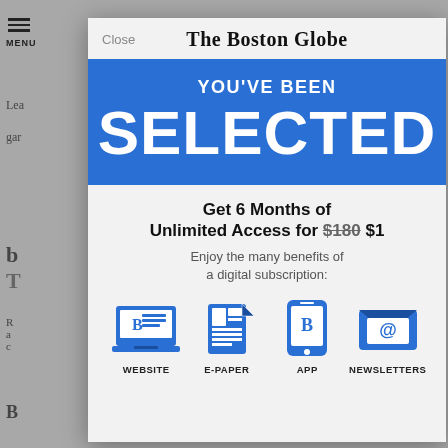[Figure (screenshot): Boston Globe subscription modal overlay on a newspaper article page. Modal shows 'The Boston Globe' masthead, a blue banner reading 'YOU'VE BEEN SELECTED', offer text 'Get 6 Months of Unlimited Access for $180 $1', subtext 'Enjoy the many benefits of a digital subscription:', and four icons: WEBSITE, E-PAPER, APP, NEWSLETTERS.]